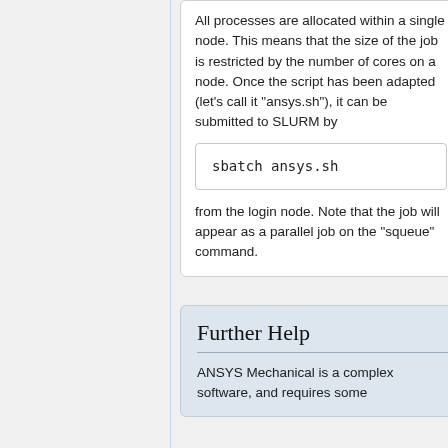All processes are allocated within a single node. This means that the size of the job is restricted by the number of cores on a node. Once the script has been adapted (let's call it "ansys.sh"), it can be submitted to SLURM by
from the login node. Note that the job will appear as a parallel job on the "squeue" command.
Further Help
ANSYS Mechanical is a complex software, and requires some